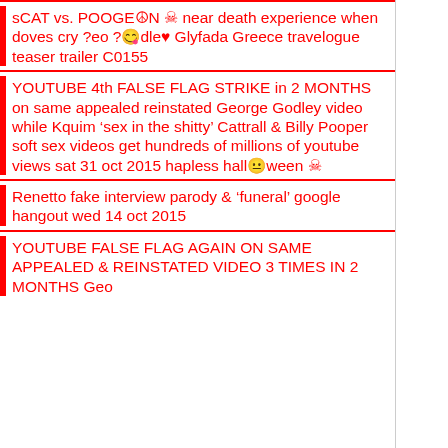sCAT vs. POOGE☮N ☠ near death experience when doves cry ?eo ?😊dle♥ Glyfada Greece travelogue teaser trailer C0155
YOUTUBE 4th FALSE FLAG STRIKE in 2 MONTHS on same appealed reinstated George Godley video while Kquim 'sex in the shitty' Cattrall & Billy Pooper soft sex videos get hundreds of millions of youtube views sat 31 oct 2015 hapless hall😕ween ☠
Renetto fake interview parody & 'funeral' google hangout wed 14 oct 2015
YOUTUBE FALSE FLAG AGAIN ON SAME APPEALED & REINSTATED VIDEO 3 TIMES IN 2 MONTHS Geo